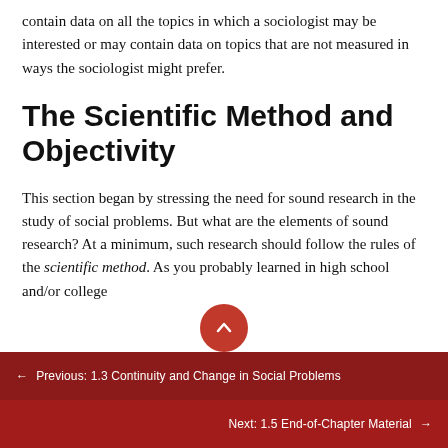contain data on all the topics in which a sociologist may be interested or may contain data on topics that are not measured in ways the sociologist might prefer.
The Scientific Method and Objectivity
This section began by stressing the need for sound research in the study of social problems. But what are the elements of sound research? At a minimum, such research should follow the rules of the scientific method. As you probably learned in high school and/or college
← Previous: 1.3 Continuity and Change in Social Problems
Next: 1.5 End-of-Chapter Material →